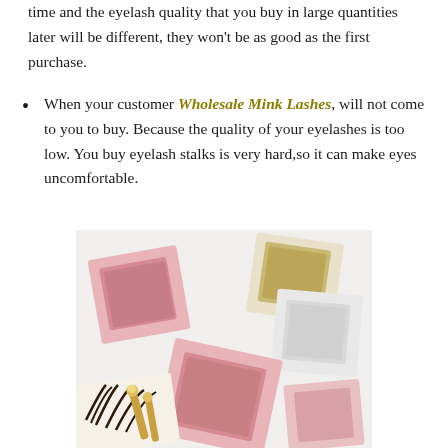time and the eyelash quality that you buy in large quantities later will be different, they won't be as good as the first purchase.
When your customer Wholesale Mink Lashes, will not come to you to buy. Because the quality of your eyelashes is too low. You buy eyelash stalks is very hard,so it can make eyes uncomfortable.
[Figure (photo): Multiple pink and white eyelash packaging boxes arranged on a white surface, with gold eyelash brushes and fluffy mink lashes visible.]